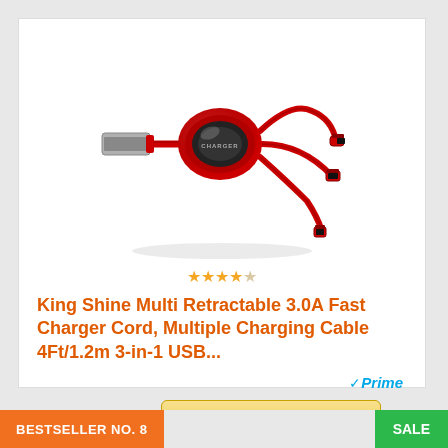[Figure (photo): Red retractable multi-cable USB charger with three connectors (Micro USB, USB-C, Lightning) coiled around a red disk-shaped retractor, with a USB-A plug on the other end]
★★★★☆ (4 out of 5 stars)
King Shine Multi Retractable 3.0A Fast Charger Cord, Multiple Charging Cable 4Ft/1.2m 3-in-1 USB...
✓Prime
Check on Amazon
BESTSELLER NO. 8
SALE